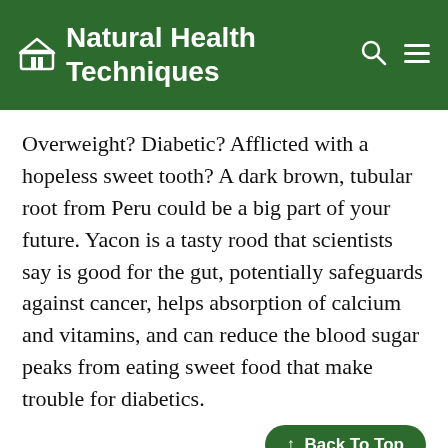Natural Health Techniques
Overweight? Diabetic? Afflicted with a hopeless sweet tooth? A dark brown, tubular root from Peru could be a big part of your future. Yacon is a tasty rood that scientists say is good for the gut, potentially safeguards against cancer, helps absorption of calcium and vitamins, and can reduce the blood sugar peaks from eating sweet food that make trouble for diabetics.
Saccharin-